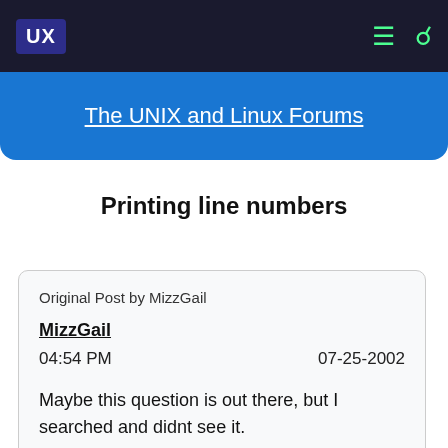UX
The UNIX and Linux Forums
Printing line numbers
Original Post by MizzGail
MizzGail
04:54 PM    07-25-2002
Maybe this question is out there, but I searched and didnt see it.